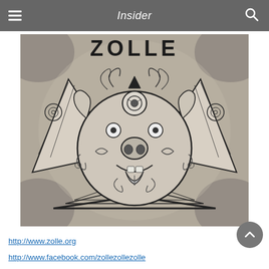Insider
[Figure (illustration): Black and white decorative illustration of a stylized beast/mask face with tribal/Aztec design elements, with the word ZOLLE at the top. Features symmetrical wing-like shapes, swirling patterns, a circular face with nose and mouth details, all on a textured gray background.]
http://www.zolle.org
http://www.facebook.com/zollezollezolle
http://www.twitter.com/zollezollezolle